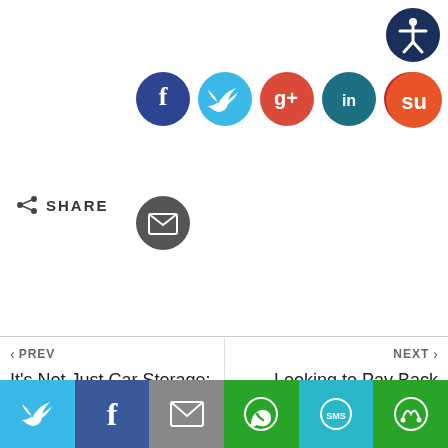[Figure (infographic): Social sharing buttons: Facebook (dark blue), Twitter (light blue), Google+ (red-orange), LinkedIn (teal), Pinterest (red), StumbleUpon (orange), and Email (dark grey) circle icons. An accessibility icon in top-right corner.]
SHARE
‹ PREV
It's Not Just Car Storage: How to Transform Your Garage into a Brand New, Highly Usable Space
NEXT ›
Looking to Pay Back Your Mortgage Faster? Three Reasons to Consider Switching to Bi-weekly Payments
[Figure (infographic): Bottom share bar with Twitter (blue), Facebook (dark blue), Email (grey), WhatsApp (green), SMS (cyan/teal), and another share icon (green) buttons.]